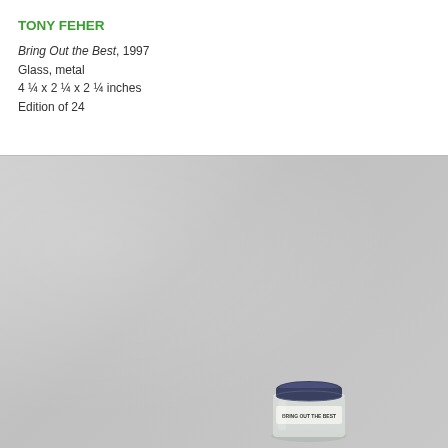TONY FEHER
Bring Out the Best, 1997
Glass, metal
4 ¼ x 2 ¼ x 2 ¼ inches
Edition of 24
[Figure (photo): Photograph of a small glass jar with a metal screw-top lid, labeled 'Bring Out the Best', photographed against a light gray textured background. The jar appears near the bottom center of the image.]